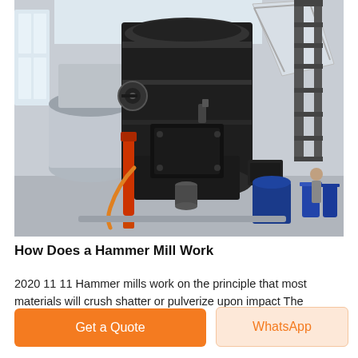[Figure (photo): Large industrial hammer mill machine in a factory/warehouse setting. The machine is a large black vertical mill with cylindrical body, ducts, pipes, and associated equipment. A silver large duct pipe is visible to the left, and a large rectangular silver chute/hopper is visible on the upper right. People and blue barrels are visible in the background.]
How Does a Hammer Mill Work
2020 11 11 Hammer mills work on the principle that most materials will crush shatter or pulverize upon impact The Process Material is fed into
Get a Quote
WhatsApp